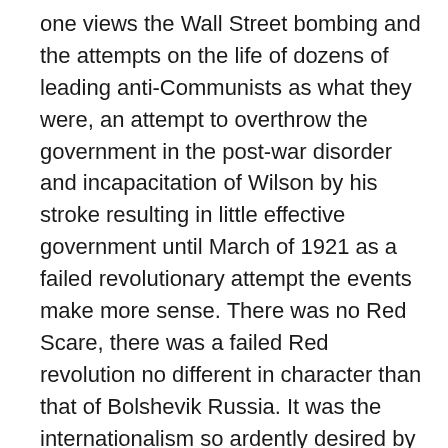one views the Wall Street bombing and the attempts on the life of dozens of leading anti-Communists as what they were, an attempt to overthrow the government in the post-war disorder and incapacitation of Wilson by his stroke resulting in little effective government until March of 1921 as a failed revolutionary attempt the events make more sense. There was no Red Scare, there was a failed Red revolution no different in character than that of Bolshevik Russia. It was the internationalism so ardently desired by Roosevelt. Isolation was not an option.
This mess then was inherited by the incoming Republican president Warren G. Harding which he promptly solved. The Reds were squelched within a few months of Harding's inauguration. The Party itself was outlawed. However sympathizers and Reds disguising themselves as humanitarian Liberals had the law reversed